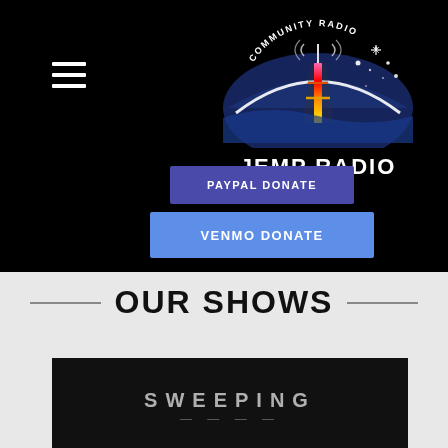[Figure (logo): JEMP Radio community radio station logo with colorful antenna tower and night sky, circular badge with 'COMMUNITY RADIO' text]
[Figure (other): Hamburger menu icon (three white horizontal lines) in top left]
PAYPAL DONATE
VENMO DONATE
OUR SHOWS
[Figure (screenshot): Show card with dark background showing text 'SWEEPING' partially visible]